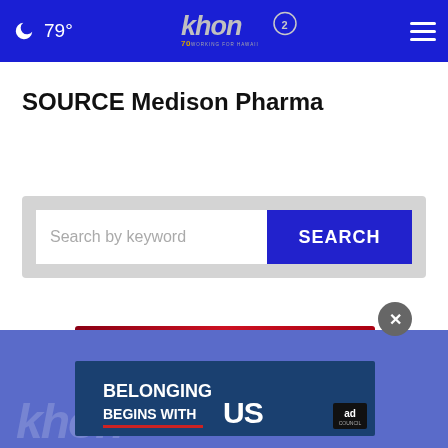79° khon2 WORKING FOR HAWAII
SOURCE Medison Pharma
[Figure (screenshot): Search bar with placeholder text 'Search by keyword' and a blue SEARCH button]
[Figure (screenshot): Ad banner: Get SAVEDBYTHESCAN.ORG - Ad Council - American Lung Association]
[Figure (screenshot): Ad banner: BELONGING BEGINS WITH US - Ad Council logo]